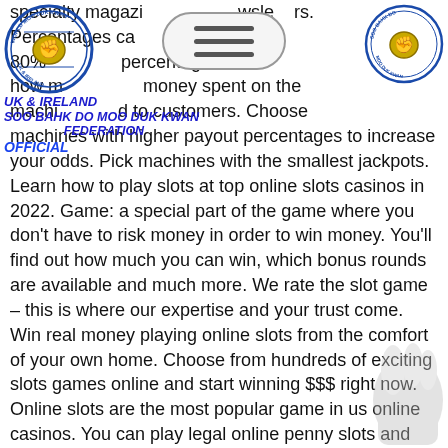[Figure (logo): World Moo Duk Kwan UK & Ireland circular logo on top-left]
[Figure (logo): Soo Bahk Do circular logo on top-right]
[Figure (other): Hamburger menu button (three horizontal bars) in top center]
UK & IRELAND
SOO BAHK DO MOO DUK KWAN FEDERATION
OFFICIAL
specialty magazines and newsletters. Percentages can range from 80% to 98%. Payback percentages refers to how much of the money spent on the machines is returned to customers. Choose machines with higher payout percentages to increase your odds. Pick machines with the smallest jackpots. Learn how to play slots at top online slots casinos in 2022. Game: a special part of the game where you don't have to risk money in order to win money. You'll find out how much you can win, which bonus rounds are available and much more. We rate the slot game – this is where our expertise and your trust come. Win real money playing online slots from the comfort of your own home. Choose from hundreds of exciting slots games online and start winning $$$ right now. Online slots are the most popular game in us online casinos. You can play legal online penny slots and win real. In your local casino and casinos all over the
[Figure (illustration): Faded gray hand/arm illustration on the right side of the page]